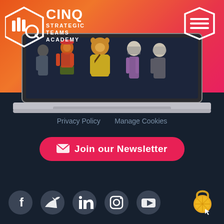[Figure (logo): CINQ Strategic Teams Academy logo - white geometric shield/hands icon with text]
[Figure (illustration): Laptop screen showing animated anthropomorphic characters in safety/work gear]
[Figure (other): Octagonal hamburger menu icon top right]
Privacy Policy   Manage Cookies
✉ Join our Newsletter
[Figure (other): Social media icons: Facebook, Twitter, LinkedIn, Instagram, YouTube]
[Figure (logo): Orange lemon/padlock icon bottom right corner]